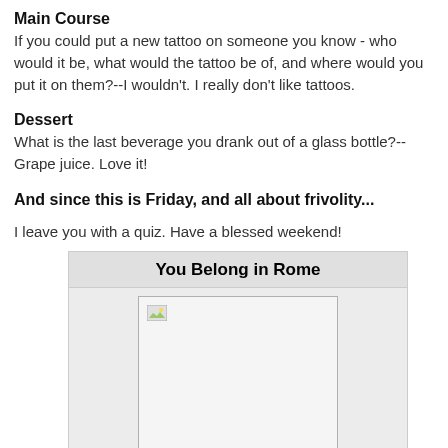Main Course
If you could put a new tattoo on someone you know - who would it be, what would the tattoo be of, and where would you put it on them?--I wouldn't. I really don't like tattoos.
Dessert
What is the last beverage you drank out of a glass bottle?--Grape juice. Love it!
And since this is Friday, and all about frivolity...
I leave you with a quiz. Have a blessed weekend!
[Figure (other): Quiz result box titled 'You Belong in Rome' with a broken image placeholder and caption text 'You're a big city girl with a small town heart']